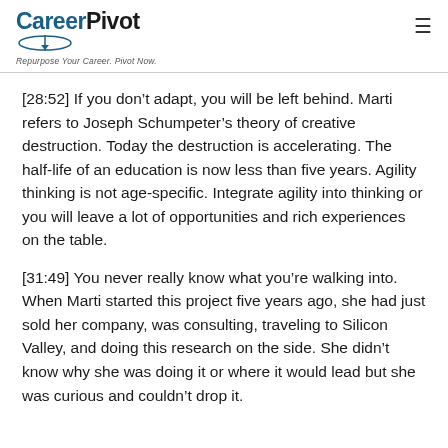CareerPivot — Repurpose Your Career. Pivot Now.
[28:52] If you don't adapt, you will be left behind. Marti refers to Joseph Schumpeter's theory of creative destruction. Today the destruction is accelerating. The half-life of an education is now less than five years. Agility thinking is not age-specific. Integrate agility into thinking or you will leave a lot of opportunities and rich experiences on the table.
[31:49] You never really know what you're walking into. When Marti started this project five years ago, she had just sold her company, was consulting, traveling to Silicon Valley, and doing this research on the side. She didn't know why she was doing it or where it would lead but she was curious and couldn't drop it.